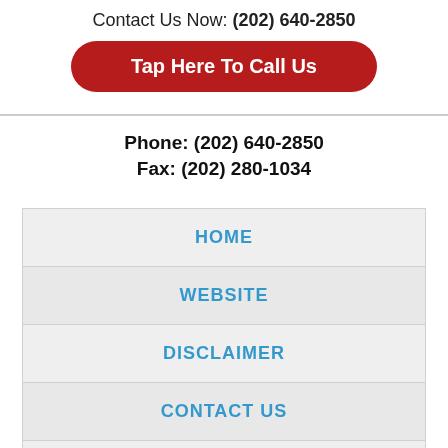Contact Us Now: (202) 640-2850
Tap Here To Call Us
Phone: (202) 640-2850
Fax: (202) 280-1034
HOME
WEBSITE
DISCLAIMER
CONTACT US
WEBSITE MAP